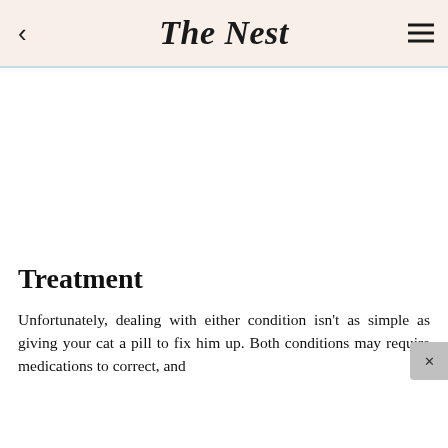The Nest
Treatment
Unfortunately, dealing with either condition isn't as simple as giving your cat a pill to fix him up. Both conditions may require medications to correct, and